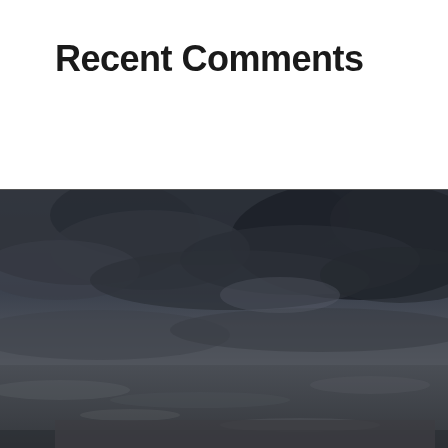Recent Comments
[Figure (photo): Dramatic stormy dark sky over the ocean, moody coastal scene with dark clouds and rough water]
Spanish Armada Ireland
Grange
County Sligo
F91 Y2D1,
Ireland
E: info@spanisharmadaireland.com